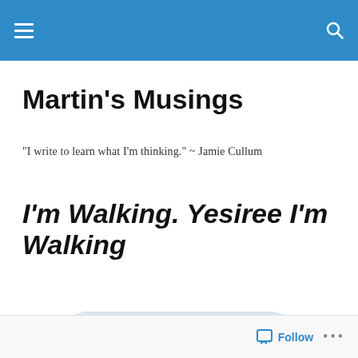Martin's Musings (header bar with hamburger menu and search icon)
Martin's Musings
"I write to learn what I'm thinking." ~ Jamie Cullum
I'm Walking. Yesiree I'm Walking
[Figure (photo): Walking At Work Day promotional image showing three business people walking, with a 'start!' logo badge and text 'Walking At Work Day, April 25, 2007' on a green banner]
Follow ...